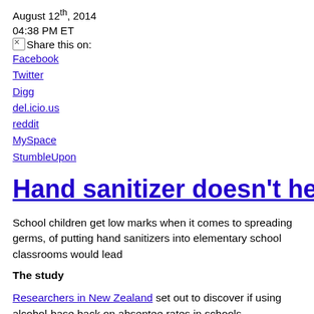August 12th, 2014
04:38 PM ET
Share this on:
Facebook
Twitter
Digg
del.icio.us
reddit
MySpace
StumbleUpon
Hand sanitizer doesn't help in sc
School children get low marks when it comes to spreading germs, of putting hand sanitizers into elementary school classrooms would lead
The study
Researchers in New Zealand set out to discover if using alcohol-based back on absentee rates in schools.
They recruited 68 primary schools, and all students were given a half control group where children washed their hands with soap and wat